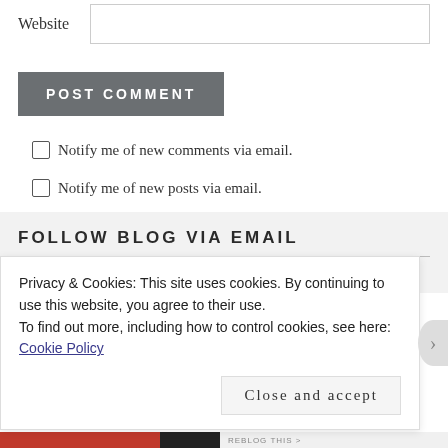Website
POST COMMENT
Notify me of new comments via email.
Notify me of new posts via email.
FOLLOW BLOG VIA EMAIL
Enter your email address to follow this blog and
Privacy & Cookies: This site uses cookies. By continuing to use this website, you agree to their use. To find out more, including how to control cookies, see here: Cookie Policy
Close and accept